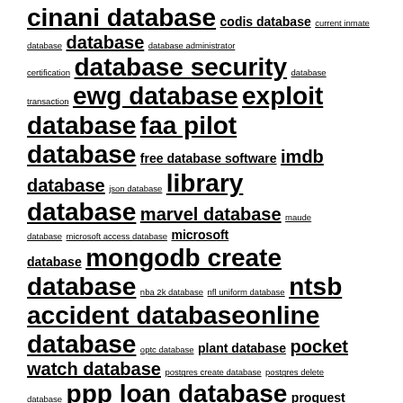cinani database codis database current inmate database database database administrator certification database security database transaction ewg database exploit database faa pilot database free database software imdb database json database library database marvel database maude database microsoft access database microsoft database mongodb create database nba 2k database nfl uniform database ntsb accident database online database optc database plant database pocket watch database postgres create database postgres delete database ppp loan database proquest database protein database redis database ri ... shopnois database